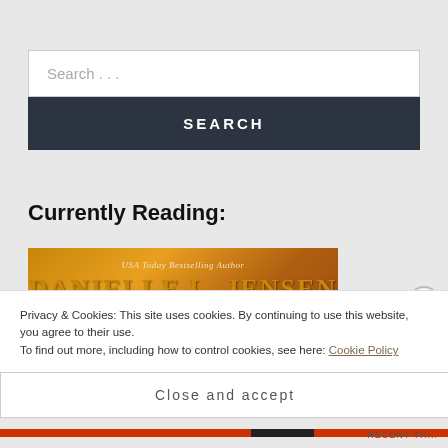Search ...
SEARCH
Currently Reading:
[Figure (illustration): Book cover showing USA Today Bestselling Author Danielle L. Jensen, golden/amber toned cover with author name displayed prominently]
Privacy & Cookies: This site uses cookies. By continuing to use this website, you agree to their use.
To find out more, including how to control cookies, see here: Cookie Policy
Close and accept